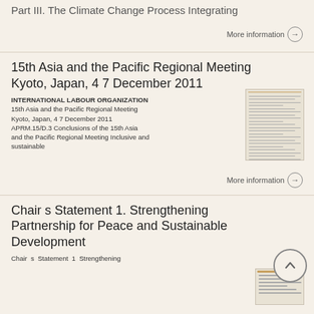Part III. The Climate Change Process Integrating
More information →
15th Asia and the Pacific Regional Meeting Kyoto, Japan, 4 7 December 2011
INTERNATIONAL LABOUR ORGANIZATION 15th Asia and the Pacific Regional Meeting Kyoto, Japan, 4 7 December 2011 APRM.15/D.3 Conclusions of the 15th Asia and the Pacific Regional Meeting Inclusive and sustainable
[Figure (illustration): Thumbnail image of a document page]
More information →
Chair s Statement 1. Strengthening Partnership for Peace and Sustainable Development
Chair s Statement 1 Strengthening